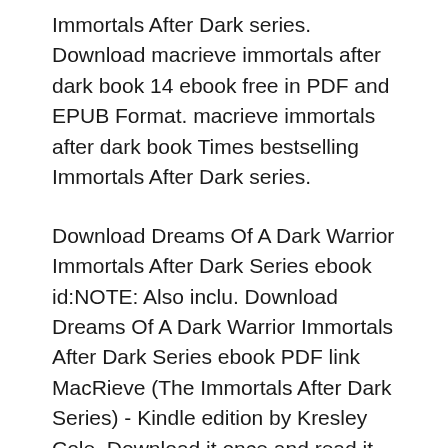Immortals After Dark series. Download macrieve immortals after dark book 14 ebook free in PDF and EPUB Format. macrieve immortals after dark book Times bestselling Immortals After Dark series.
Download Dreams Of A Dark Warrior Immortals After Dark Series ebook id:NOTE: Also inclu. Download Dreams Of A Dark Warrior Immortals After Dark Series ebook PDF link MacRieve (The Immortals After Dark Series) - Kindle edition by Kresley Cole. Download it once and read it on your Kindle device, PC, phones or tablets. Use features
31/12/2009B B· Download here. kresley cole epub mobi pdf lit ebook online free download